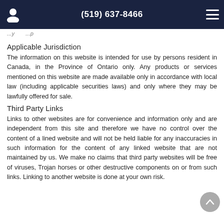(519) 637-8466
...y ...p
Applicable Jurisdiction
The information on this website is intended for use by persons resident in Canada, in the Province of Ontario only. Any products or services mentioned on this website are made available only in accordance with local law (including applicable securities laws) and only where they may be lawfully offered for sale.
Third Party Links
Links to other websites are for convenience and information only and are independent from this site and therefore we have no control over the content of a lined website and will not be held liable for any inaccuracies in such information for the content of any linked website that are not maintained by us. We make no claims that third party websites will be free of viruses, Trojan horses or other destructive components on or from such links. Linking to another website is done at your own risk.